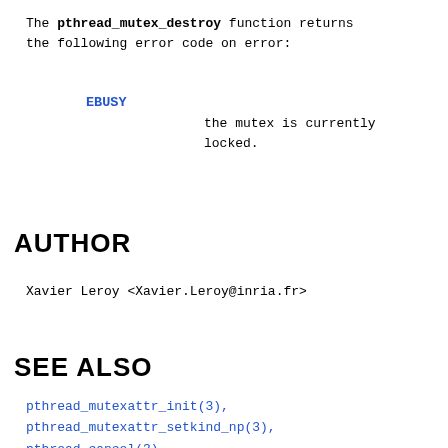The pthread_mutex_destroy function returns the following error code on error:
EBUSY    the mutex is currently locked.
AUTHOR
Xavier Leroy <Xavier.Leroy@inria.fr>
SEE ALSO
pthread_mutexattr_init(3), pthread_mutexattr_setkind_np(3), pthread_cancel(3).